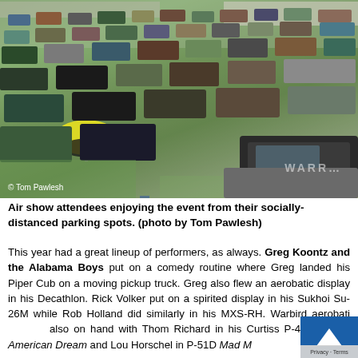[Figure (photo): Aerial/elevated view of an air show crowd in a large grass field with many vehicles parked in socially-distanced spots. People are visible outside their cars and trucks. Photo credit: Tom Pawlesh.]
Air show attendees enjoying the event from their socially-distanced parking spots. (photo by Tom Pawlesh)
This year had a great lineup of performers, as always. Greg Koontz and the Alabama Boys put on a comedy routine where Greg landed his Piper Cub on a moving pickup truck. Greg also flew an aerobatic display in his Decathlon. Rick Volker put on a spirited display in his Sukhoi Su-26M while Rob Holland did similarly in his MXS-RH. Warbird aerobatics also on hand with Thom Richard in his Curtiss P-40 W American Dream and Lou Horschel in P-51D Mad M...